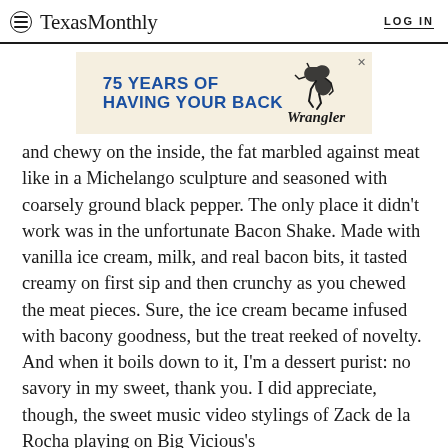TexasMonthly   LOG IN
[Figure (infographic): Wrangler advertisement: '75 YEARS OF HAVING YOUR BACK' with Wrangler logo and bucking horse illustration on a tan/cream background]
and chewy on the inside, the fat marbled against meat like in a Michelango sculpture and seasoned with coarsely ground black pepper. The only place it didn't work was in the unfortunate Bacon Shake. Made with vanilla ice cream, milk, and real bacon bits, it tasted creamy on first sip and then crunchy as you chewed the meat pieces. Sure, the ice cream became infused with bacony goodness, but the treat reeked of novelty. And when it boils down to it, I'm a dessert purist: no savory in my sweet, thank you. I did appreciate, though, the sweet music video stylings of Zack de la Rocha playing on Big Vicious's